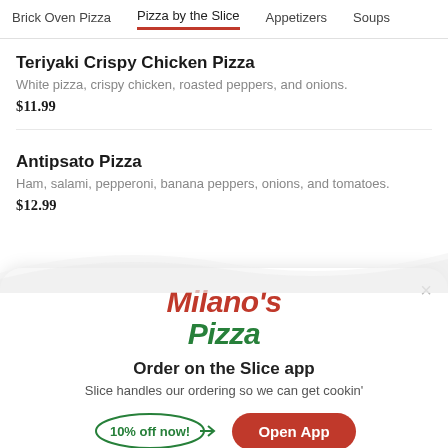Brick Oven Pizza | Pizza by the Slice | Appetizers | Soups
Teriyaki Crispy Chicken Pizza
White pizza, crispy chicken, roasted peppers, and onions.
$11.99
Antipsato Pizza
Ham, salami, pepperoni, banana peppers, onions, and tomatoes.
$12.99
[Figure (logo): Milano's Pizza logo with red italic 'Milano's' and green italic 'Pizza' text]
Order on the Slice app
Slice handles our ordering so we can get cookin'
10% off now!
Open App